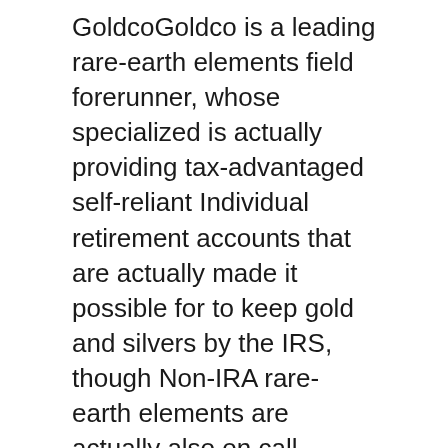GoldcoGoldco is a leading rare-earth elements field forerunner, whose specialized is actually providing tax-advantaged self-reliant Individual retirement accounts that are actually made it possible for to keep gold and silvers by the IRS, though Non-IRA rare-earth elements are actually also on call.
Established in 2006 through Trevor Gerszt, and also rebranding as Goldco in 2011, they have actually assisted 1000s of individuals and also families around the country properly get in the rare-earth elements expenditure field.
They have rightfully earned some of the greatest gold dealer ratings in the industry, many thanks to their high specifications of